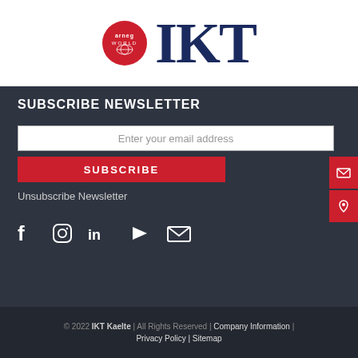[Figure (logo): Arneg World red circle logo next to large dark blue IKT text logo]
SUBSCRIBE NEWSLETTER
Enter your email address
SUBSCRIBE
Unsubscribe Newsletter
[Figure (infographic): Social media icons: Facebook, Instagram, LinkedIn, YouTube, Email]
© 2022 IKT Kaelte | All Rights Reserved | Company Information | Privacy Policy | Sitemap